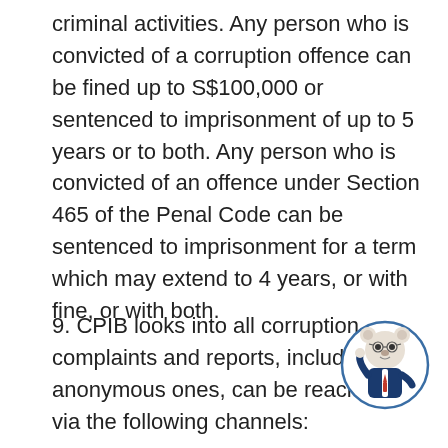criminal activities. Any person who is convicted of a corruption offence can be fined up to S$100,000 or sentenced to imprisonment of up to 5 years or to both. Any person who is convicted of an offence under Section 465 of the Penal Code can be sentenced to imprisonment for a term which may extend to 4 years, or with fine, or with both.
9. CPIB looks into all corruption complaints and reports, including anonymous ones, and can be reached via the following channels:
[Figure (illustration): A cartoon mascot bear wearing a dark blue suit with a red tie, glasses, standing and waving, inside a blue circle border.]